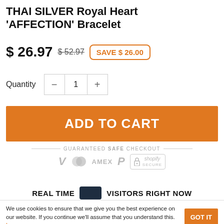THAI SILVER Royal Heart 'AFFECTION' Bracelet
$ 26.97  $ 52.97  SAVE $ 26.00
Quantity  -  1  +
ADD TO CART
GUARANTEED SAFE CHECKOUT
[Figure (infographic): Payment icons: Visa, Mastercard, AMEX, PayPal, Shopify Secure lock]
REAL TIME  VISITORS RIGHT NOW
We use cookies to ensure that we give you the best experience on our website. If you continue we'll assume that you understand this. Learn more
You can radiate Zen vibes with our stunning New THAI SILVER...